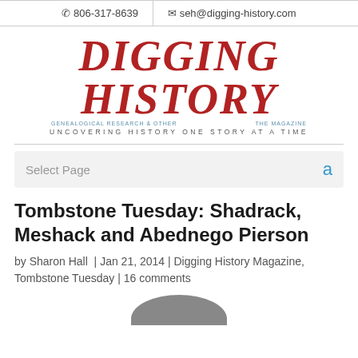📞 806-317-8639  ✉ seh@digging-history.com
[Figure (logo): Digging History magazine logo with red serif title text, blue subtitle lines, and tagline 'UNCOVERING HISTORY ONE STORY AT A TIME']
Select Page
Tombstone Tuesday: Shadrack, Meshack and Abednego Pierson
by Sharon Hall  |  Jan 21, 2014  |  Digging History Magazine, Tombstone Tuesday  |  16 comments
[Figure (photo): Partial photo of a tombstone, bottom of page]